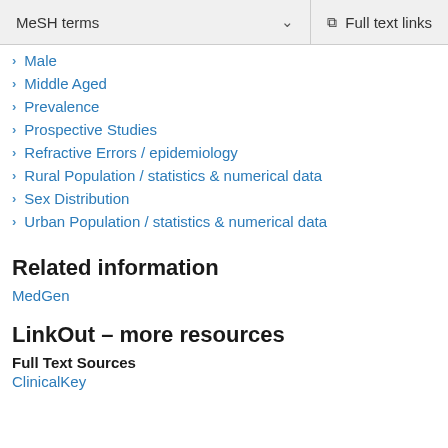MeSH terms  ∨    Full text links
Male
Middle Aged
Prevalence
Prospective Studies
Refractive Errors / epidemiology
Rural Population / statistics & numerical data
Sex Distribution
Urban Population / statistics & numerical data
Related information
MedGen
LinkOut – more resources
Full Text Sources
ClinicalKey